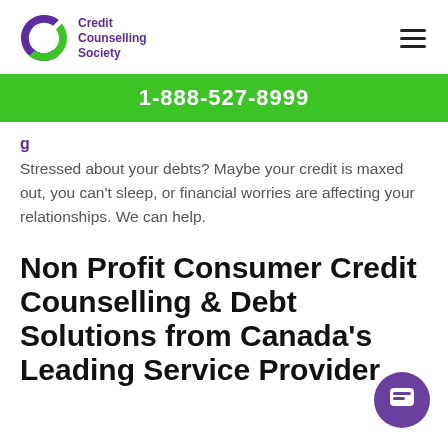[Figure (logo): Credit Counselling Society logo with purple and green icon and purple text]
1-888-527-8999
Stressed about your debts? Maybe your credit is maxed out, you can't sleep, or financial worries are affecting your relationships. We can help.
Non Profit Consumer Credit Counselling & Debt Solutions from Canada's Leading Service Provider